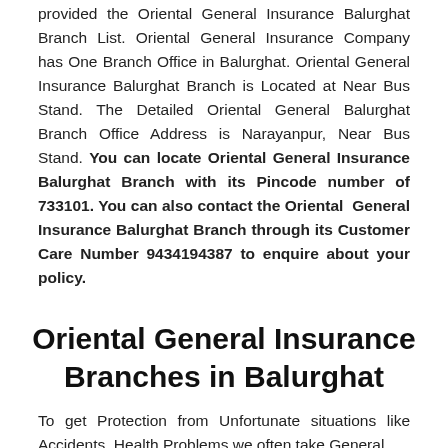provided the Oriental General Insurance Balurghat Branch List. Oriental General Insurance Company has One Branch Office in Balurghat. Oriental General Insurance Balurghat Branch is Located at Near Bus Stand. The Detailed Oriental General Balurghat Branch Office Address is Narayanpur, Near Bus Stand. You can locate Oriental General Insurance Balurghat Branch with its Pincode number of 733101. You can also contact the Oriental General Insurance Balurghat Branch through its Customer Care Number 9434194387 to enquire about your policy.
Oriental General Insurance Branches in Balurghat
To get Protection from Unfortunate situations like Accidents, Health Problems we often take General